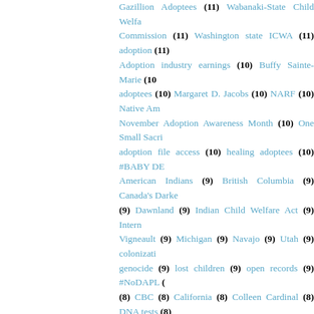Gazillion Adoptees (11) Wabanaki-State Child Welfare Commission (11) Washington state ICWA (11) adoption (11) Adoption industry earnings (10) Buffy Sainte-Marie (10) adoptees (10) Margaret D. Jacobs (10) NARF (10) Native Am… November Adoption Awareness Month (10) One Small Sacri… adoption file access (10) healing adoptees (10) #BABY DE… American Indians (9) British Columbia (9) Canada's Darke… (9) Dawnland (9) Indian Child Welfare Act (9) Intern… Vigneault (9) Michigan (9) Navajo (9) Utah (9) colonizati… genocide (9) lost children (9) open records (9) #NoDAPL … (8) CBC (8) California (8) Colleen Cardinal (8) DNA tests (8) Nebraska (8) OBC access (8) RAD (8) South Dakota's Native C… Custody Cases (8) adoptee support (8) adoption practices (… reinventing tribal foster care (8) suicide rates (8) tweets (8… Aboriginal Child Welfare System (7) Adopter expectation (7) Trafficking (7) Adoption headlines (7) Adoption is Big Business (… themes in the movies (7) An interview with Daniel Ibn Zayd (7) school (7) Lawsuit filed for 60s Scoop First Nation kids … Reconciliation Commission (7) Wisconsin (7) atrocities against… boarding school survivor (7) ceremony for adoptees (7) how t… trauma (7) lost birds (7) news (7) racial identification (7) unr… #OBC (6) #OrangeShirtDay (6) 215 graves (6) Adoption Reality … schools should be named (6) American Holocaust of Indigenou… Called Home: The RoadMap (6) Cherokee Nation (6) DOJ (6) Doctrine of Discovery (6) Epigenetics: Scientific Evidence of…